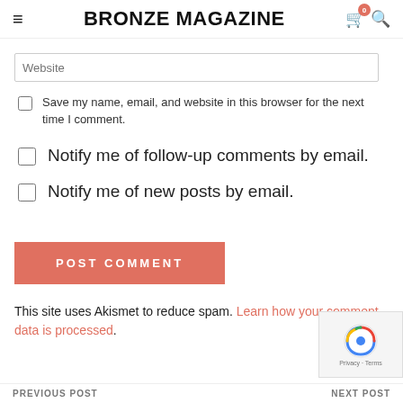BRONZE MAGAZINE
Website
Save my name, email, and website in this browser for the next time I comment.
Notify me of follow-up comments by email.
Notify me of new posts by email.
POST COMMENT
This site uses Akismet to reduce spam. Learn how your comment data is processed.
PREVIOUS POST   NEXT POST